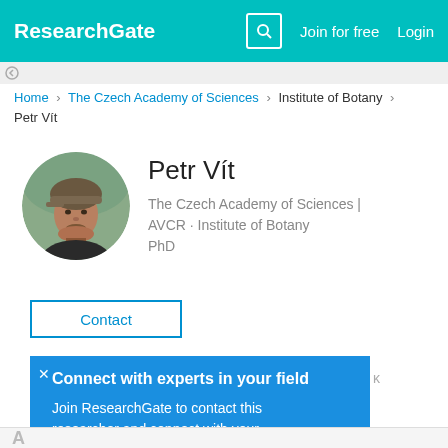ResearchGate  Join for free  Login
Home > The Czech Academy of Sciences > Institute of Botany > Petr Vít
[Figure (photo): Circular profile photo of Petr Vít, a man wearing a cap outdoors]
Petr Vít
The Czech Academy of Sciences | AVCR · Institute of Botany
PhD
Contact
Connect with experts in your field

Join ResearchGate to contact this researcher and connect with your